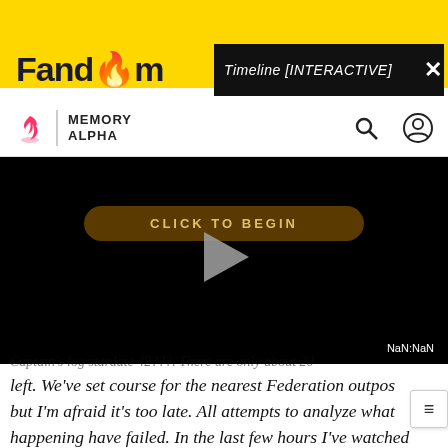[Figure (screenshot): Fandom Memory Alpha website header with yellow background, black popup overlay showing 'Timeline [INTERACTIVE]' with close button, Memory Alpha logo bar with search and user icons, black video player area with 'CLICK TO BEGIN' button and play triangle, NaN:NaN timestamp, and partially visible italic quote text about Captain L.J. Telaka and USS Lantree.]
left. We've set course for the nearest Federation outpos but I'm afraid it's too late. All attempts to analyze what happening have failed. In the last few hours I've watched friends grow old and die. And I'm seeing it happen to me. Captain L.J. Telaka, USS Lantree."